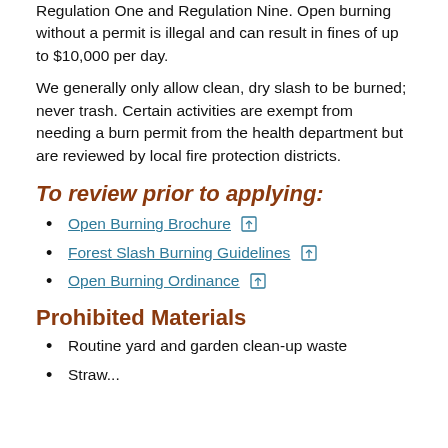Regulation One and Regulation Nine. Open burning without a permit is illegal and can result in fines of up to $10,000 per day.
We generally only allow clean, dry slash to be burned; never trash. Certain activities are exempt from needing a burn permit from the health department but are reviewed by local fire protection districts.
To review prior to applying:
Open Burning Brochure
Forest Slash Burning Guidelines
Open Burning Ordinance
Prohibited Materials
Routine yard and garden clean-up waste
Straw...